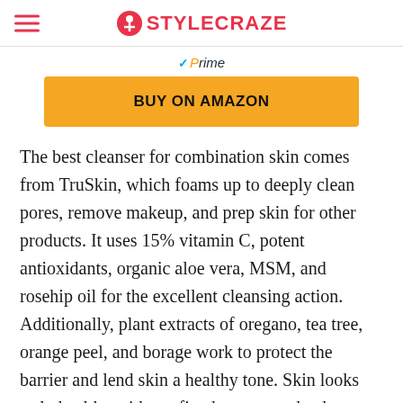STYLECRAZE
[Figure (logo): Amazon Prime logo with checkmark and 'Prime' text in blue and orange]
[Figure (other): Yellow 'BUY ON AMAZON' button]
The best cleanser for combination skin comes from TruSkin, which foams up to deeply clean pores, remove makeup, and prep skin for other products. It uses 15% vitamin C, potent antioxidants, organic aloe vera, MSM, and rosehip oil for the excellent cleansing action. Additionally, plant extracts of oregano, tea tree, orange peel, and borage work to protect the barrier and lend skin a healthy tone. Skin looks truly healthy with a refined texture and a dewy glow and lesser breakouts, sun-related damage